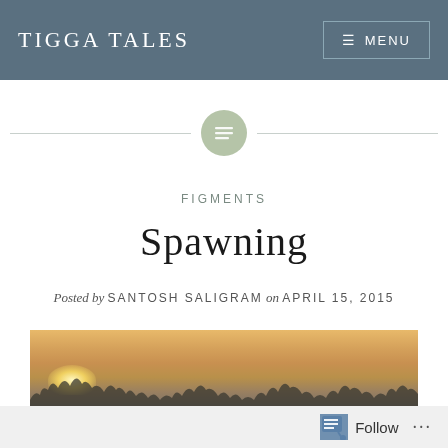TIGGA TALES
[Figure (illustration): Decorative divider with a sage green circle containing a lines/text icon, flanked by horizontal lines]
FIGMENTS
Spawning
Posted by SANTOSH SALIGRAM on APRIL 15, 2015
[Figure (photo): A sunset landscape photo showing warm orange sky with tree silhouettes along the bottom edge]